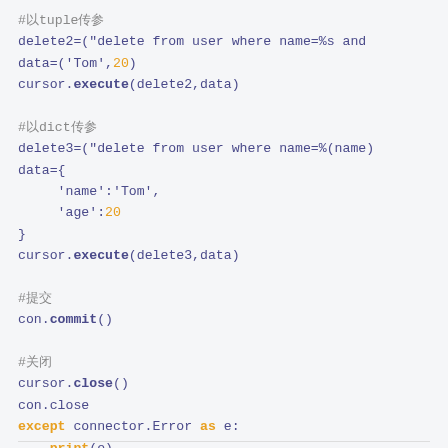#以tuple传参
delete2=("delete from user where name=%s and age=%s")
data=('Tom',20)
cursor.execute(delete2,data)

#以dict传参
delete3=("delete from user where name=%(name)s and age=%(age)s")
data={
    'name':'Tom',
    'age':20
}
cursor.execute(delete3,data)

#提交
con.commit()

#关闭
cursor.close()
con.close
except connector.Error as e:
    print(e)